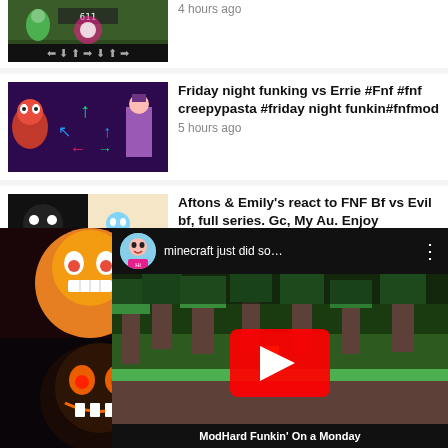[Figure (screenshot): YouTube feed entry thumbnail - game screenshot with arrow keys, partially cut off at top]
4 hours ago
[Figure (screenshot): YouTube thumbnail - Friday Night Funkin vs Errie, colorful characters with arrows]
Friday night funking vs Errie #Fnf #fnf creepypasta #friday night funkin#fnfmod
5 hours ago
[Figure (screenshot): YouTube thumbnail - Aftons & Emily's react to FNF Bf vs Evil bf]
Aftons & Emily's react to FNF Bf vs Evil bf, full series. Gc, My Au. Enjoy
5 hours ago
[Figure (screenshot): YouTube mini player overlay showing minecraft video with play button, avatar, and ModHard Funkin On a Monday caption]
ModHard Funkin' On a Monday